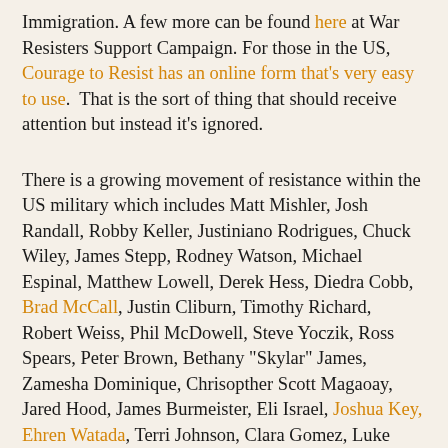Immigration. A few more can be found here at War Resisters Support Campaign. For those in the US, Courage to Resist has an online form that's very easy to use.  That is the sort of thing that should receive attention but instead it's ignored.
There is a growing movement of resistance within the US military which includes Matt Mishler, Josh Randall, Robby Keller, Justiniano Rodrigues, Chuck Wiley, James Stepp, Rodney Watson, Michael Espinal, Matthew Lowell, Derek Hess, Diedra Cobb, Brad McCall, Justin Cliburn, Timothy Richard, Robert Weiss, Phil McDowell, Steve Yoczik, Ross Spears, Peter Brown, Bethany "Skylar" James, Zamesha Dominique, Chrisopther Scott Magaoay, Jared Hood, James Burmeister, Eli Israel, Joshua Key, Ehren Watada, Terri Johnson, Clara Gomez, Luke Kamunen, Leif Kamunen, Leo Kamunen, Camilo Mejia, Kimberly Rivera, Dean Walcott, Linjamin Mull, Agustin Aguayo, Justin Colby, Marc Train, Abdullah Webster, Robert Zabala, Darrell Anderson, Kyle Snyder, Corey Glass, Jeremy Hinzman, Kevin Lee, Mark Wilkerson, Patrick Hart, Ricky Clousing, Ivan Brobeck, Aidan Delgado, Pablo Paredes, Carl Webb, Stephen Funk, Blake LeMoine, Clifton Hicks, David Sanders, Dan Felushko, Brandon